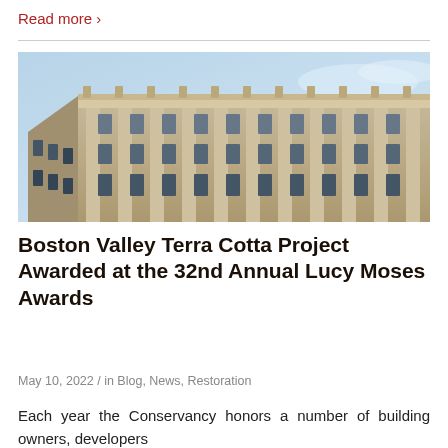Read more ›
[Figure (photo): Upward angle photograph of an ornate historic stone building facade with decorative architectural details, columns, and arched windows against a blue sky.]
Boston Valley Terra Cotta Project Awarded at the 32nd Annual Lucy Moses Awards
May 10, 2022 / in Blog, News, Restoration
Each year the Conservancy honors a number of building owners, developers